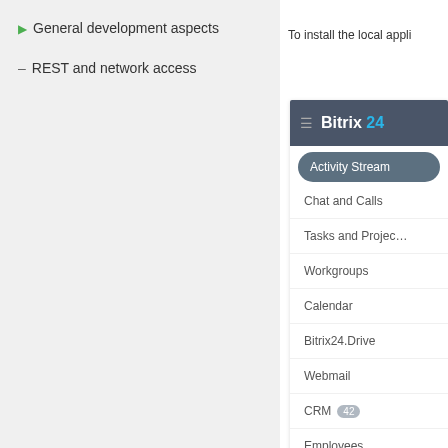General development aspects
REST and network access
To install the local appli
[Figure (screenshot): Bitrix24 sidebar navigation showing menu items: Activity Stream (active/highlighted), Chat and Calls, Tasks and Projects, Workgroups, Calendar, Bitrix24.Drive, Webmail, CRM (badge: 42), Employees, Time and Reports, Applications]